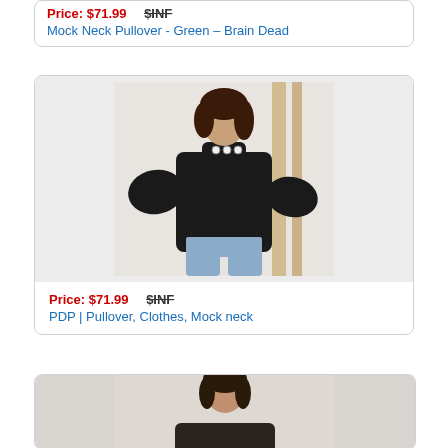Price: $71.99   $INF
Mock Neck Pullover - Green – Brain Dead
[Figure (photo): Woman wearing black mock neck pullover with buttons at neckline and light blue jeans, standing in front of a light background with a wooden ladder/shelf]
Price: $71.99   $INF
PDP | Pullover, Clothes, Mock neck
[Figure (photo): Woman wearing dark top, partially visible at bottom of page]